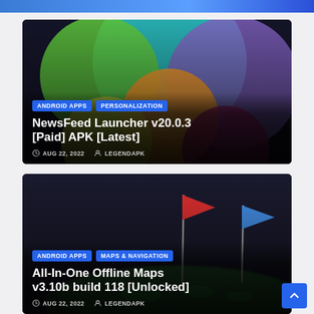[Figure (screenshot): Article card with colorful overlapping circles (launcher/personalization app icon) on dark background. Tags: ANDROID APPS, PERSONALIZATION. Title: NewsFeed Launcher v20.0.3 [Paid] APK [Latest]. Date: AUG 22, 2022. Author: LEGENDAPK.]
[Figure (screenshot): Article card with map globe and red and blue flags on dark background. Tags: ANDROID APPS, MAPS & NAVIGATION. Title: All-In-One Offline Maps v3.10b build 118 [Unlocked]. Date: AUG 22, 2022. Author: LEGENDAPK.]